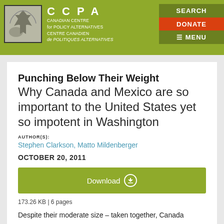CCPA – Canadian Centre for Policy Alternatives / Centre canadien de politiques alternatives | SEARCH | DONATE | MENU
Punching Below Their Weight
Why Canada and Mexico are so important to the United States yet so impotent in Washington
AUTHOR(S):
Stephen Clarkson, Matto Mildenberger
OCTOBER 20, 2011
Download
173.26 KB | 6 pages
Despite their moderate size – taken together, Canada